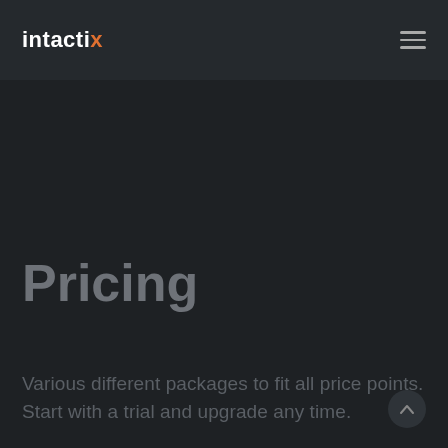intactix (logo) | hamburger menu
Pricing
Various different packages to fit all price points.
Start with a trial and upgrade any time.